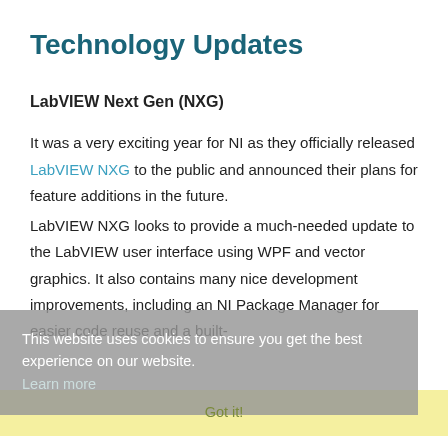Technology Updates
LabVIEW Next Gen (NXG)
It was a very exciting year for NI as they officially released LabVIEW NXG to the public and announced their plans for feature additions in the future.
LabVIEW NXG looks to provide a much-needed update to the LabVIEW user interface using WPF and vector graphics. It also contains many nice development improvements, including an NI Package Manager for easier code reuse and a built-
This website uses cookies to ensure you get the best experience on our website. Learn more
Got it!